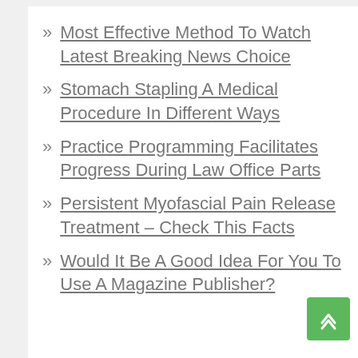Most Effective Method To Watch Latest Breaking News Choice
Stomach Stapling A Medical Procedure In Different Ways
Practice Programming Facilitates Progress During Law Office Parts
Persistent Myofascial Pain Release Treatment – Check This Facts
Would It Be A Good Idea For You To Use A Magazine Publisher?